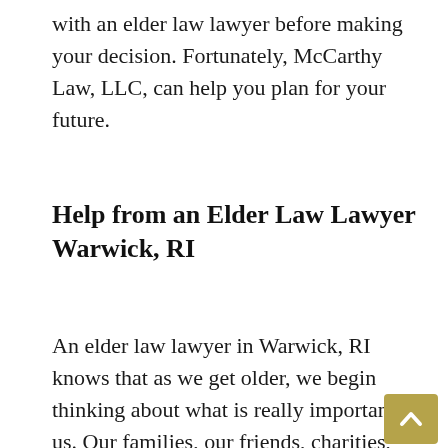with an elder law lawyer before making your decision. Fortunately, McCarthy Law, LLC, can help you plan for your future.
Help from an Elder Law Lawyer Warwick, RI
An elder law lawyer in Warwick, RI knows that as we get older, we begin thinking about what is really important to us. Our families, our friends, charities, and what will happen to our property after passing away. If you are beginning to think about estate planning and wonder if it is worth it, consider what may happen to your estate if you do not create an estate plan. At McCarthy Law, LLC, we have helped many people who are considering creating an estate plan get started on this journey and help give them peace of mind when it comes to taking